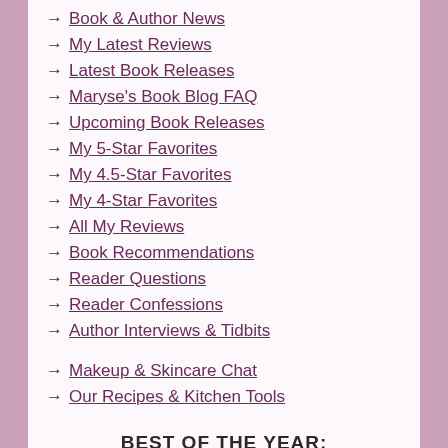Book & Author News
My Latest Reviews
Latest Book Releases
Maryse's Book Blog FAQ
Upcoming Book Releases
My 5-Star Favorites
My 4.5-Star Favorites
My 4-Star Favorites
All My Reviews
Book Recommendations
Reader Questions
Reader Confessions
Author Interviews & Tidbits
Makeup & Skincare Chat
Our Recipes & Kitchen Tools
BEST OF THE YEAR:
My Best Books of 2020